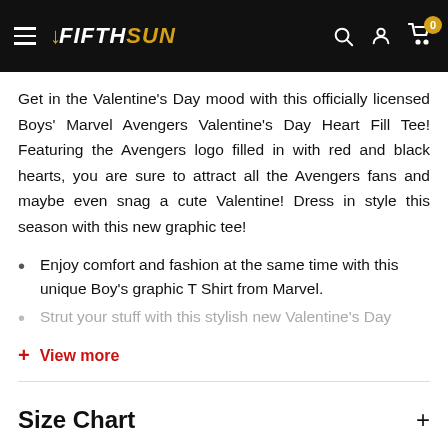VFIFTHSUN navigation bar with hamburger menu, logo, search, account, and cart icons
Get in the Valentine's Day mood with this officially licensed Boys' Marvel Avengers Valentine's Day Heart Fill Tee! Featuring the Avengers logo filled in with red and black hearts, you are sure to attract all the Avengers fans and maybe even snag a cute Valentine! Dress in style this season with this new graphic tee!
Enjoy comfort and fashion at the same time with this unique Boy's graphic T Shirt from Marvel.
Strut your stuff with this stylish new Valentine's Day
+ View more
Size Chart